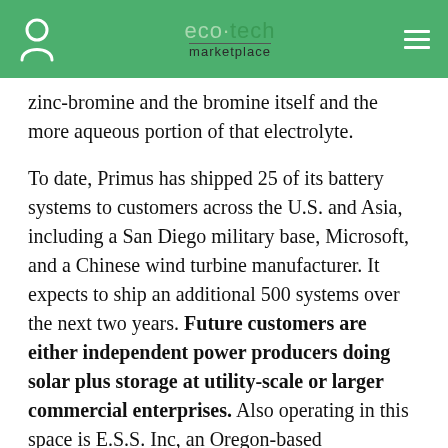eco tech marketplace
zinc-bromine and the bromine itself and the more aqueous portion of that electrolyte.
To date, Primus has shipped 25 of its battery systems to customers across the U.S. and Asia, including a San Diego military base, Microsoft, and a Chinese wind turbine manufacturer. It expects to ship an additional 500 systems over the next two years. Future customers are either independent power producers doing solar plus storage at utility-scale or larger commercial enterprises. Also operating in this space is E.S.S. Inc, an Oregon-based manufacturer of iron flow batteries, founded in 2011. Its systems are larger than Primus Powers. They're batteries in a shipping container. They